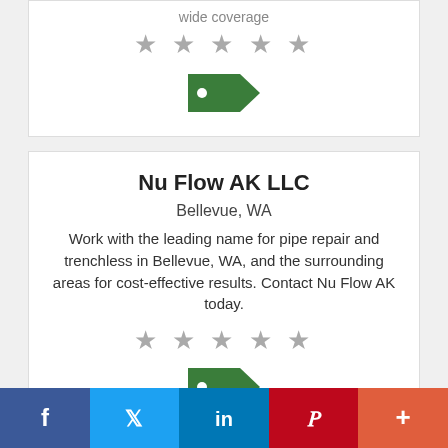[Figure (other): Five grey star rating icons]
[Figure (other): Green price tag icon]
Nu Flow AK LLC
Bellevue, WA
Work with the leading name for pipe repair and trenchless in Bellevue, WA, and the surrounding areas for cost-effective results. Contact Nu Flow AK today.
[Figure (other): Five grey star rating icons]
[Figure (other): Green price tag icon]
[Figure (other): Social sharing bar with Facebook, Twitter, LinkedIn, Pinterest, and More buttons]